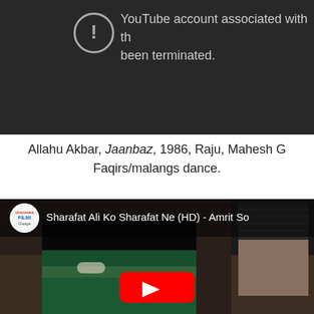[Figure (screenshot): YouTube video error screen with dark background showing account terminated message]
Allahu Akbar, Jaanbaz, 1986, Raju, Mahesh G Faqirs/malangs dance.
[Figure (screenshot): YouTube video thumbnail showing 'Sharafat Ali Ko Sharafat Ne (HD) - Amrit So...' from Shemaroo Filmi Gaane channel, with two actors visible and a YouTube play button overlay]